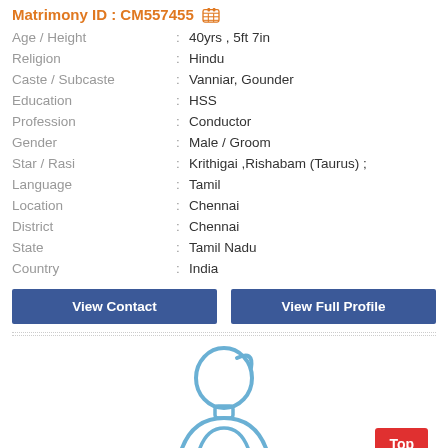Matrimony ID : CM557455
| Field | : | Value |
| --- | --- | --- |
| Age / Height | : | 40yrs , 5ft 7in |
| Religion | : | Hindu |
| Caste / Subcaste | : | Vanniar, Gounder |
| Education | : | HSS |
| Profession | : | Conductor |
| Gender | : | Male / Groom |
| Star / Rasi | : | Krithigai ,Rishabam (Taurus) ; |
| Language | : | Tamil |
| Location | : | Chennai |
| District | : | Chennai |
| State | : | Tamil Nadu |
| Country | : | India |
View Contact
View Full Profile
[Figure (illustration): Male avatar/profile placeholder illustration in blue outline style]